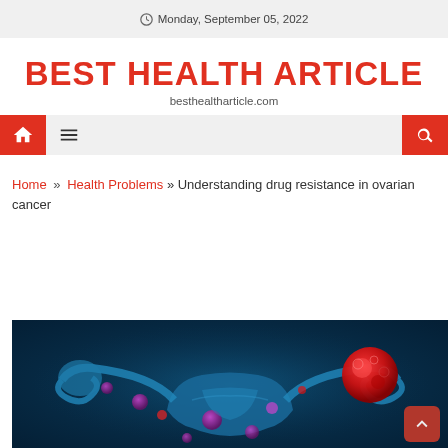Monday, September 05, 2022
BEST HEALTH ARTICLE
besthealtharticle.com
Home » Health Problems » Understanding drug resistance in ovarian cancer
[Figure (photo): Medical illustration of ovarian cancer showing uterus and ovaries with cancer cells (red/purple) on a blue background]